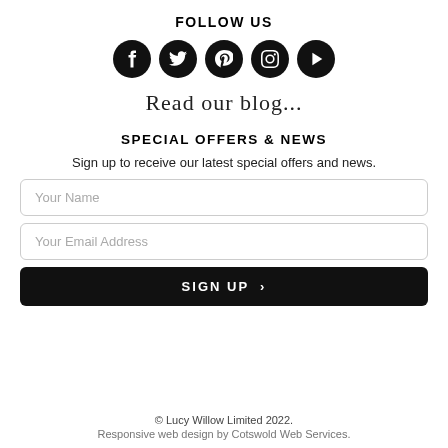FOLLOW US
[Figure (illustration): Five black circular social media icons in a row: Facebook (f), Twitter (bird), Pinterest (P), Instagram (camera), YouTube/Play (triangle play button)]
Read our blog...
SPECIAL OFFERS & NEWS
Sign up to receive our latest special offers and news.
Your Name
Your Email Address
SIGN UP >
© Lucy Willow Limited 2022.
Responsive web design by Cotswold Web Services.